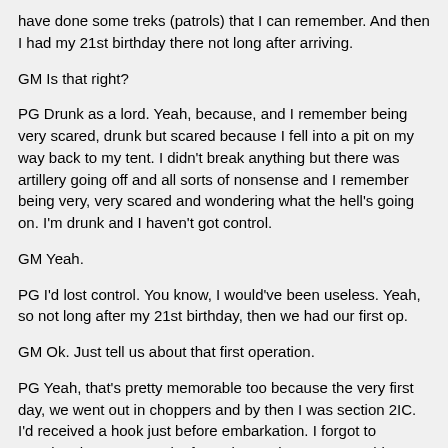have done some treks (patrols) that I can remember. And then I had my 21st birthday there not long after arriving.
GM Is that right?
PG Drunk as a lord. Yeah, because, and I remember being very scared, drunk but scared because I fell into a pit on my way back to my tent. I didn't break anything but there was artillery going off and all sorts of nonsense and I remember being very, very scared and wondering what the hell's going on. I'm drunk and I haven't got control.
GM Yeah.
PG I'd lost control. You know, I would've been useless. Yeah, so not long after my 21st birthday, then we had our first op.
GM Ok. Just tell us about that first operation.
PG Yeah, that's pretty memorable too because the very first day, we went out in choppers and by then I was section 2IC. I'd received a hook just before embarkation. I forgot to mention that, as a result of, you know, the Canungra thing and what have you. They must've